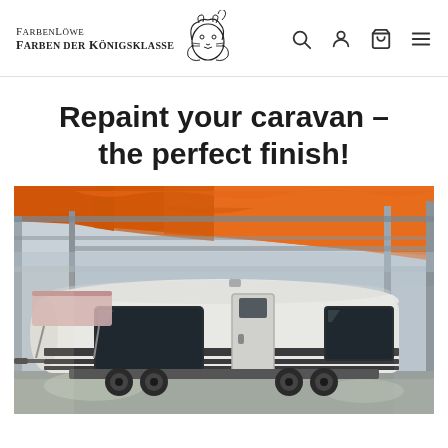FarbenLöwe Farben der Königsklasse
Repaint your caravan – the perfect finish!
[Figure (photo): A white caravan/trailer with dark grey stripes parked inside an industrial hall or workshop with an orange tarpaulin covering the roof structure. The caravan has two windows and a door, and is mounted on a double axle.]